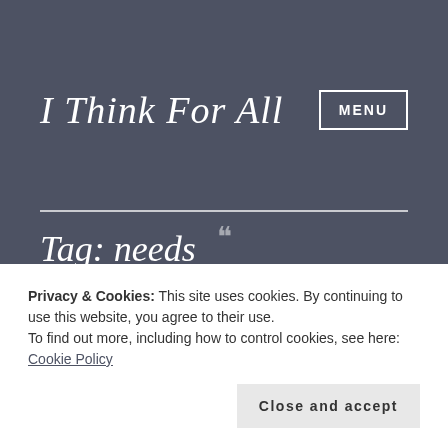I Think For All
Tag: needs
Privacy & Cookies: This site uses cookies. By continuing to use this website, you agree to their use.
To find out more, including how to control cookies, see here: Cookie Policy
Close and accept